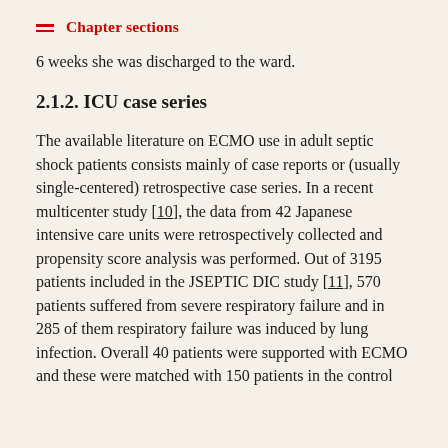Chapter sections
6 weeks she was discharged to the ward.
2.1.2. ICU case series
The available literature on ECMO use in adult septic shock patients consists mainly of case reports or (usually single-centered) retrospective case series. In a recent multicenter study [10], the data from 42 Japanese intensive care units were retrospectively collected and propensity score analysis was performed. Out of 3195 patients included in the JSEPTIC DIC study [11], 570 patients suffered from severe respiratory failure and in 285 of them respiratory failure was induced by lung infection. Overall 40 patients were supported with ECMO and these were matched with 150 patients in the control